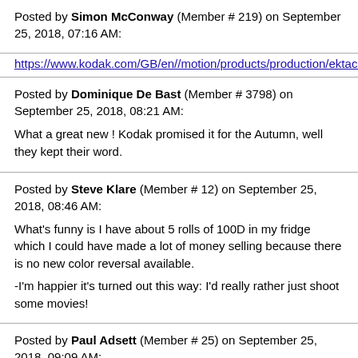Posted by Simon McConway (Member # 219) on September 25, 2018, 07:16 AM:
https://www.kodak.com/GB/en//motion/products/production/ektachrome/defa
Posted by Dominique De Bast (Member # 3798) on September 25, 2018, 08:21 AM:
What a great new ! Kodak promised it for the Autumn, well they kept their word.
Posted by Steve Klare (Member # 12) on September 25, 2018, 08:46 AM:
What's funny is I have about 5 rolls of 100D in my fridge which I could have made a lot of money selling because there is no new color reversal available.
-I'm happier it's turned out this way: I'd really rather just shoot some movies!
Posted by Paul Adsett (Member # 25) on September 25, 2018, 09:09 AM:
Wonderful news, I can't wait to get my first roll and try it out in my Chinon S8 camera. Kodak sure kicked Ferrania's butt on this one!
Posted by Osi Osgood (Member # 424) on September 25, 2018, 10:54